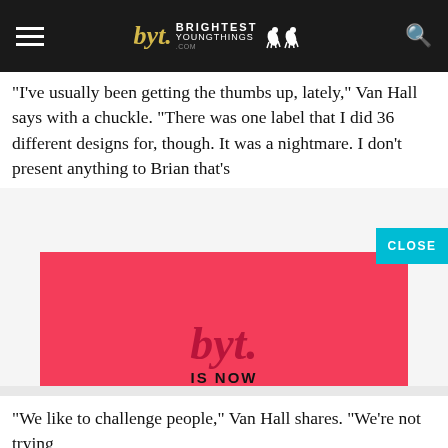byt. BRIGHTEST YOUNG THINGS
"I've usually been getting the thumbs up, lately," Van Hall says with a chuckle. "There was one label that I did 36 different designs for, though. It was a nightmare. I don't present anything to Brian that's
[Figure (advertisement): Red advertisement for Exactly agency showing byt. script logo, 'IS NOW', 'Exactly' in large serif font, and 'VISIT US AT WWW.EXACTLYAGENCY.COM']
"We like to challenge people," Van Hall shares. "We're not trying